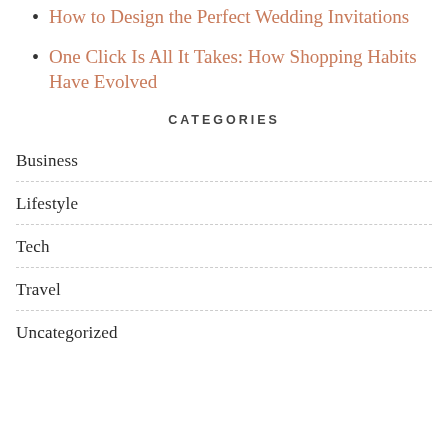How to Design the Perfect Wedding Invitations
One Click Is All It Takes: How Shopping Habits Have Evolved
CATEGORIES
Business
Lifestyle
Tech
Travel
Uncategorized